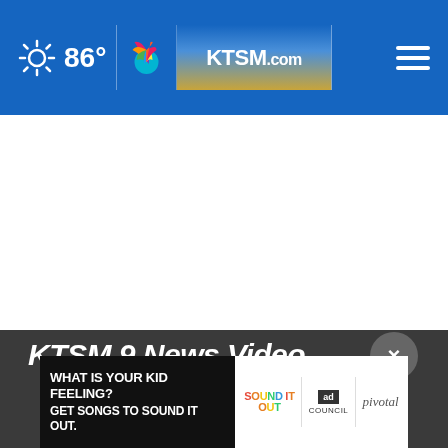86° KTSM.com
[Figure (screenshot): White content area below navigation bar]
KTSM 9 News Video
[Figure (other): Advertisement banner: WHAT IS YOUR KID FEELING? GET SONGS TO SOUND IT OUT. - Sound It Out / Ad Council / Pivotal]